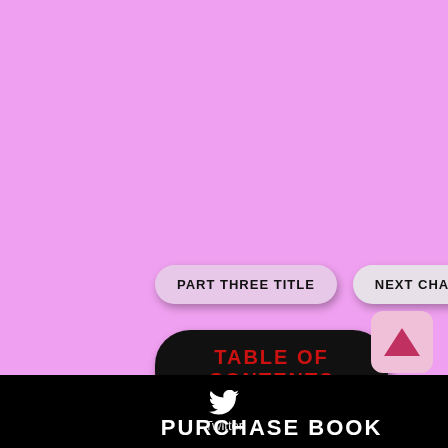PART THREE TITLE
NEXT CHAPTER
TABLE OF CONTENTS
PURCHASE BOOK
[Figure (illustration): Scroll-up arrow button, pink background with dark pink triangle]
Twitter